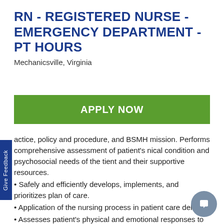RN - REGISTERED NURSE - EMERGENCY DEPARTMENT - PT HOURS
Mechanicsville, Virginia
[Figure (other): Green APPLY NOW button]
actice, policy and procedure, and BSMH mission. Performs comprehensive assessment of patient's nical condition and psychosocial needs of the tient and their supportive resources.
Safely and efficiently develops, implements, and prioritizes plan of care.
Application of the nursing process in patient care delivery.
Assesses patient's physical and emotional responses to treatment to evaluate effectiveness of intervention and patient outcomes; revises plan of care accordingly.
Assists patient and family in coping with patient's...